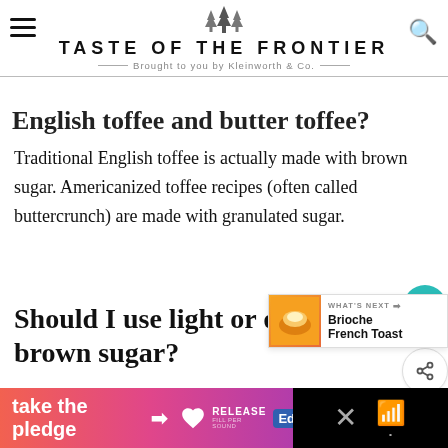TASTE OF THE FRONTIER — Brought to you by Kleinworth & Co.
English toffee and butter toffee?
Traditional English toffee is actually made with brown sugar. Americanized toffee recipes (often called buttercrunch) are made with granulated sugar.
Should I use light or dark brown sugar?
Since I make my own brown sugar, I use light brown
[Figure (screenshot): take the pledge advertisement banner with gradient pink-purple background, arrow, RELEASE logo and black section with X close and wifi icon]